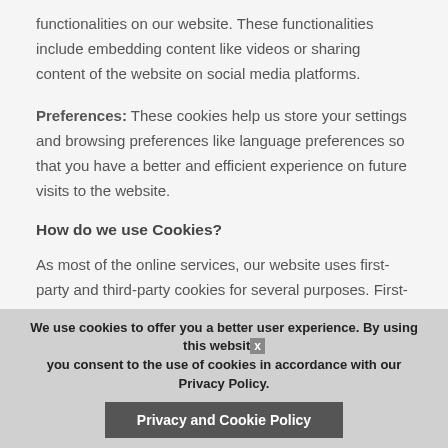functionalities on our website. These functionalities include embedding content like videos or sharing content of the website on social media platforms.
Preferences: These cookies help us store your settings and browsing preferences like language preferences so that you have a better and efficient experience on future visits to the website.
How do we use Cookies?
As most of the online services, our website uses first-party and third-party cookies for several purposes. First-party cookies are mostly necessary for the website to function the right way, and they do not collect any of your personally identifiable data.
The third-party cookies used on our website are mainly for understanding how the website performs, how you interact with our
We use cookies to offer you a better user experience. By using this website you consent to the use of cookies in accordance with our Privacy Policy.
Privacy and Cookie Policy